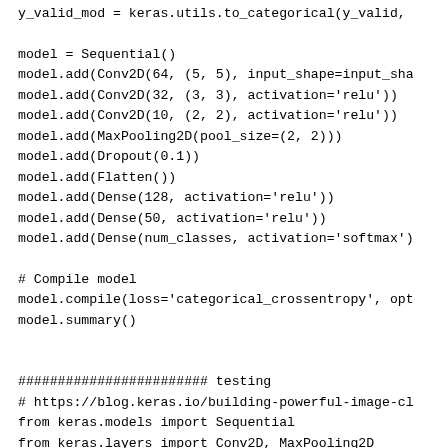y_valid_mod = keras.utils.to_categorical(y_valid,

model = Sequential()
model.add(Conv2D(64, (5, 5), input_shape=input_sha
model.add(Conv2D(32, (3, 3), activation='relu'))
model.add(Conv2D(10, (2, 2), activation='relu'))
model.add(MaxPooling2D(pool_size=(2, 2)))
model.add(Dropout(0.1))
model.add(Flatten())
model.add(Dense(128, activation='relu'))
model.add(Dense(50, activation='relu'))
model.add(Dense(num_classes, activation='softmax')

# Compile model
model.compile(loss='categorical_crossentropy', opt
model.summary()


######################## testing
# https://blog.keras.io/building-powerful-image-cl
from keras.models import Sequential
from keras.layers import Conv2D, MaxPooling2D